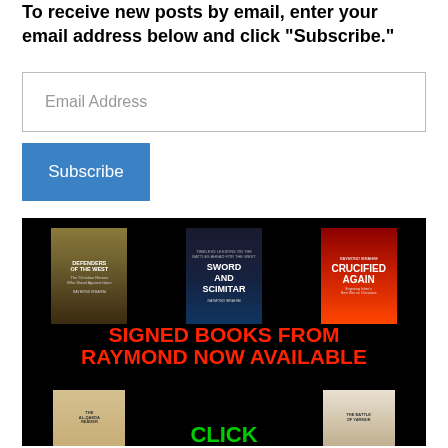To receive new posts by email, enter your email address below and click "Subscribe."
[Figure (screenshot): Email address input field (text box)]
[Figure (screenshot): Blue Subscribe button]
[Figure (illustration): Black banner showing book covers for Defenders of the West, Sword and Scimitar, Crucified Again books by Raymond Ibrahim with text SIGNED BOOKS FROM RAYMOND NOW AVAILABLE CLICK and two more books Al-Qaeda Reader and The Battle of Yarmuk at the bottom]